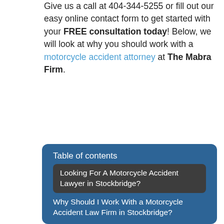Give us a call at 404-344-5255 or fill out our easy online contact form to get started with your FREE consultation today! Below, we will look at why you should work with a motorcycle accident attorney at The Mabra Firm.
Table of contents
Looking For A Motorcycle Accident Lawyer in Stockbridge?
Why Should I Work With a Motorcycle Accident Law Firm in Stockbridge?
The Role of a Motorcycle Accident Lawyer in Stockbridge
Why Should You Contact a Motorcycle Accident Attorney in Stockbridge as Soon as Possible
Help in the Most Difficult Moments
Avoid Losing Evidence and Witnesses
Don't Miss the Statute of Limitations
Won't Cost You Anything Up Front